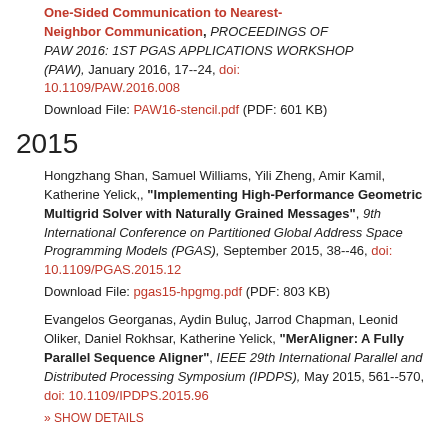One-Sided Communication to Nearest-Neighbor Communication", PROCEEDINGS OF PAW 2016: 1ST PGAS APPLICATIONS WORKSHOP (PAW), January 2016, 17--24, doi: 10.1109/PAW.2016.008
Download File: PAW16-stencil.pdf (PDF: 601 KB)
2015
Hongzhang Shan, Samuel Williams, Yili Zheng, Amir Kamil, Katherine Yelick,, "Implementing High-Performance Geometric Multigrid Solver with Naturally Grained Messages", 9th International Conference on Partitioned Global Address Space Programming Models (PGAS), September 2015, 38--46, doi: 10.1109/PGAS.2015.12
Download File: pgas15-hpgmg.pdf (PDF: 803 KB)
Evangelos Georganas, Aydin Buluç, Jarrod Chapman, Leonid Oliker, Daniel Rokhsar, Katherine Yelick, "MerAligner: A Fully Parallel Sequence Aligner", IEEE 29th International Parallel and Distributed Processing Symposium (IPDPS), May 2015, 561--570, doi: 10.1109/IPDPS.2015.96
» SHOW DETAILS